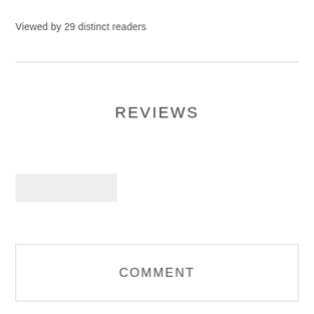Viewed by 29 distinct readers
REVIEWS
[Figure (other): Gray placeholder rectangle button]
COMMENT